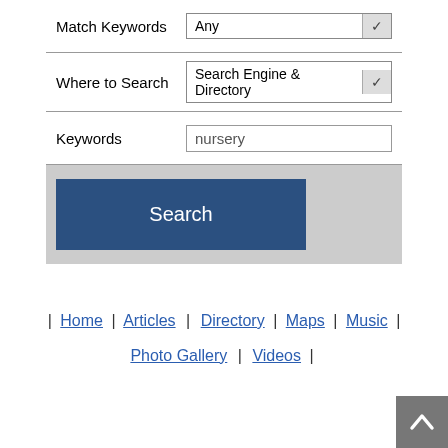Match Keywords | Any
Where to Search | Search Engine & Directory
Keywords | nursery
Search
| Home | Articles | Directory | Maps | Music | Photo Gallery | Videos |